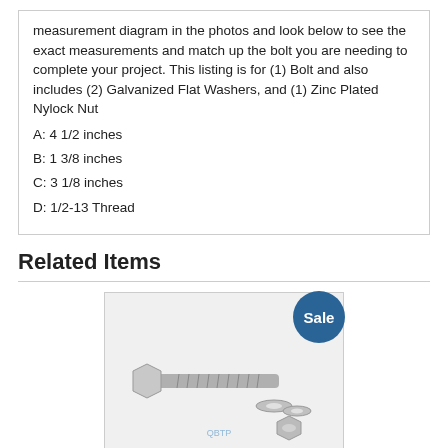measurement diagram in the photos and look below to see the exact measurements and match up the bolt you are needing to complete your project. This listing is for (1) Bolt and also includes (2) Galvanized Flat Washers, and (1) Zinc Plated Nylock Nut
A: 4 1/2 inches
B: 1 3/8 inches
C: 3 1/8 inches
D: 1/2-13 Thread
Related Items
[Figure (photo): Photo of a stainless steel bolt with two flat washers and a nylock nut, with a Sale badge in the top right corner.]
1/4 inch Diameter by 1 1/2 inch Long Stainless Steel Bolt